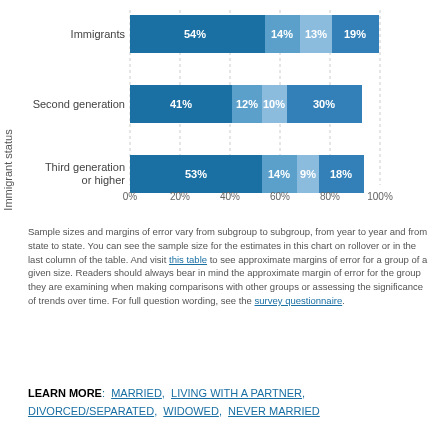[Figure (stacked-bar-chart): Immigrant status stacked bar chart]
Sample sizes and margins of error vary from subgroup to subgroup, from year to year and from state to state. You can see the sample size for the estimates in this chart on rollover or in the last column of the table. And visit this table to see approximate margins of error for a group of a given size. Readers should always bear in mind the approximate margin of error for the group they are examining when making comparisons with other groups or assessing the significance of trends over time. For full question wording, see the survey questionnaire.
LEARN MORE: MARRIED, LIVING WITH A PARTNER, DIVORCED/SEPARATED, WIDOWED, NEVER MARRIED